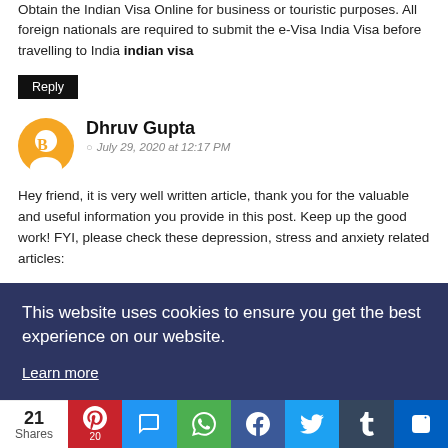Obtain the Indian Visa Online for business or touristic purposes. All foreign nationals are required to submit the e-Visa India Visa before travelling to India indian visa
Reply
Dhruv Gupta
July 29, 2020 at 12:17 PM
Hey friend, it is very well written article, thank you for the valuable and useful information you provide in this post. Keep up the good work! FYI, please check these depression, stress and anxiety related articles:
Rock Band music for Phone Ringtone
This website uses cookies to ensure you get the best experience on our website.
Learn more
21 Shares